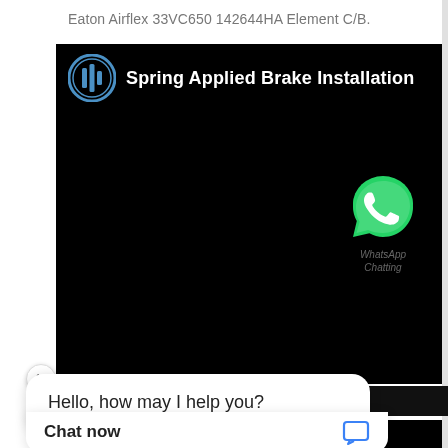Eaton Airflex 33VC650 142644HA Element C/B.
[Figure (screenshot): YouTube video thumbnail with black background showing 'Spring Applied Brake Installation' title with a channel logo (blue circular icon with vertical bars). A WhatsApp icon (green speech bubble with phone) appears in the lower right of the video with WhatsApp/phone number text below it.]
Hello, how may I help you?
Watch on YouTube
Chat now
97JC Element Air